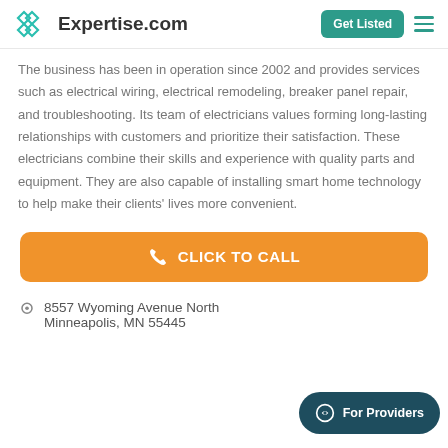Expertise.com | Get Listed
The business has been in operation since 2002 and provides services such as electrical wiring, electrical remodeling, breaker panel repair, and troubleshooting. Its team of electricians values forming long-lasting relationships with customers and prioritize their satisfaction. These electricians combine their skills and experience with quality parts and equipment. They are also capable of installing smart home technology to help make their clients' lives more convenient.
CLICK TO CALL
8557 Wyoming Avenue North
Minneapolis, MN 55445
For Providers